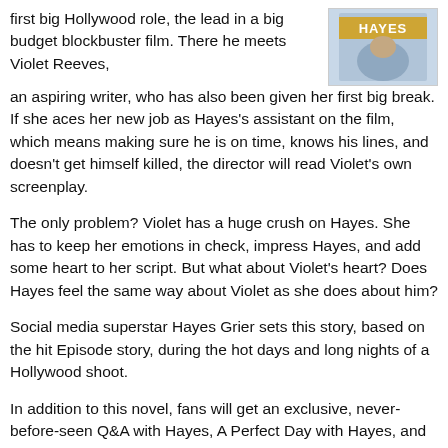first big Hollywood role, the lead in a big budget blockbuster film. There he meets Violet Reeves, an aspiring writer, who has also been given her first big break. If she aces her new job as Hayes's assistant on the film, which means making sure he is on time, knows his lines, and doesn't get himself killed, the director will read Violet's own screenplay.
[Figure (photo): Book cover showing a person wearing a shirt with the word HAYES visible]
The only problem? Violet has a huge crush on Hayes. She has to keep her emotions in check, impress Hayes, and add some heart to her script. But what about Violet's heart? Does Hayes feel the same way about Violet as she does about him?
Social media superstar Hayes Grier sets this story, based on the hit Episode story, during the hot days and long nights of a Hollywood shoot.
In addition to this novel, fans will get an exclusive, never-before-seen Q&A with Hayes, A Perfect Day with Hayes, and some family photos!